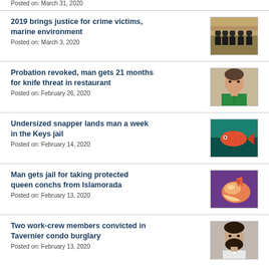Posted on: March 31, 2020
2019 brings justice for crime victims, marine environment
Posted on: March 3, 2020
[Figure (photo): Courtroom scene with people seated]
Probation revoked, man gets 21 months for knife threat in restaurant
Posted on: February 26, 2020
[Figure (photo): Mugshot of a man in a green shirt]
Undersized snapper lands man a week in the Keys jail
Posted on: February 14, 2020
[Figure (photo): Photo of a red snapper fish]
Man gets jail for taking protected queen conchs from Islamorada
Posted on: February 13, 2020
[Figure (photo): Photo of a queen conch shell]
Two work-crew members convicted in Tavernier condo burglary
Posted on: February 13, 2020
[Figure (photo): Mugshot of a bearded man]